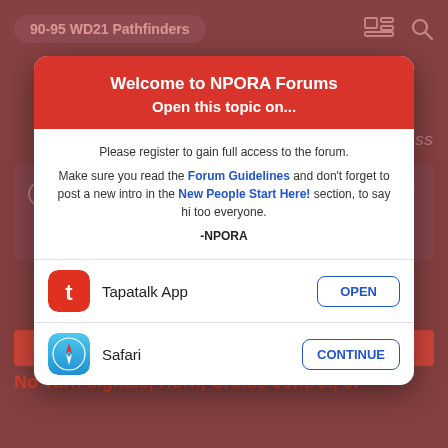90-95 WD21 Pathfinders
[Figure (logo): NPORA - Nissan Pathfinder Off Road Association logo on dark blue background]
Due to a hardware failure on the hosts systems, all posts and messages created between May 26th and Jan 13th have been lost. Additionally, if you joined the NPORA Forums community during that time, you'll need to re-register. -NPORA Mod Team *Updated: 05/19/2022 12:15AM PST
Welcome to NPORA Forums
Open this topic on...
Please register to gain full access to the forum.
Make sure you read the Forum Guidelines and don't forget to post a new intro in the New People Start Here! section, to say hi too everyone.
-NPORA
No Turn signals, Horn, Cruise control, or
Tapatalk App
Safari